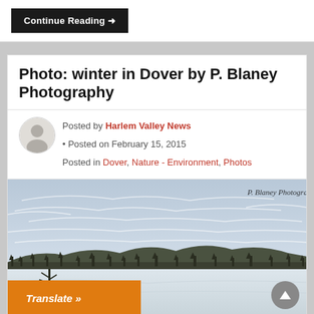Continue Reading →
Photo: winter in Dover by P. Blaney Photography
Posted by Harlem Valley News • Posted on February 15, 2015 Posted in Dover, Nature - Environment, Photos
[Figure (photo): Winter landscape in Dover showing a snow-covered field with bare trees and hills in the background under a cloudy sky. Watermark reads 'P. Blaney Photography'.]
Translate »